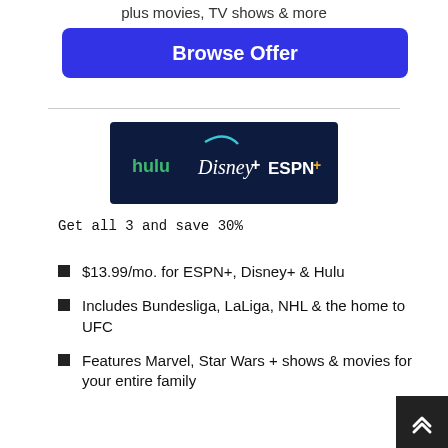plus movies, TV shows & more
Browse Offer
[Figure (logo): Hulu, Disney+, ESPN+ bundle logo on dark blue background]
Get all 3 and save 30%
$13.99/mo. for ESPN+, Disney+ & Hulu
Includes Bundesliga, LaLiga, NHL & the home to UFC
Features Marvel, Star Wars + shows & movies for your entire family